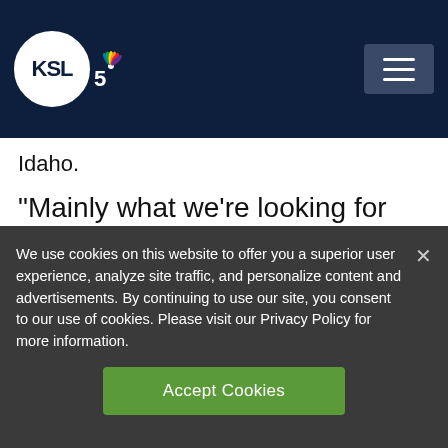KSL TV 5
Idaho.
“Mainly what we’re looking for right now is people that have symptoms,” said Dr. Anthony Wallin, an internist for Intermountain.
We use cookies on this website to offer you a superior user experience, analyze site traffic, and personalize content and advertisements. By continuing to use our site, you consent to our use of cookies. Please visit our Privacy Policy for more information.
Accept Cookies